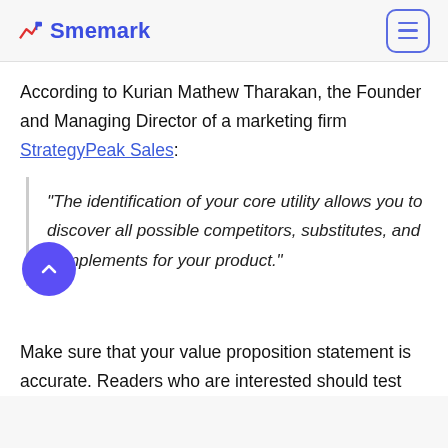Smemark
According to Kurian Mathew Tharakan, the Founder and Managing Director of a marketing firm StrategyPeak Sales:
“The identification of your core utility allows you to discover all possible competitors, substitutes, and complements for your product.”
Make sure that your value proposition statement is accurate. Readers who are interested should test